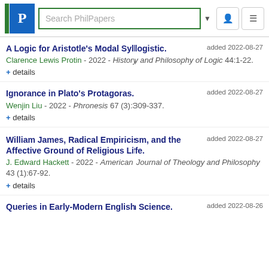Search PhilPapers
A Logic for Aristotle's Modal Syllogistic.
Clarence Lewis Protin - 2022 - History and Philosophy of Logic 44:1-22.
+ details
Ignorance in Plato's Protagoras.
Wenjin Liu - 2022 - Phronesis 67 (3):309-337.
+ details
William James, Radical Empiricism, and the Affective Ground of Religious Life.
J. Edward Hackett - 2022 - American Journal of Theology and Philosophy 43 (1):67-92.
+ details
Queries in Early-Modern English Science.